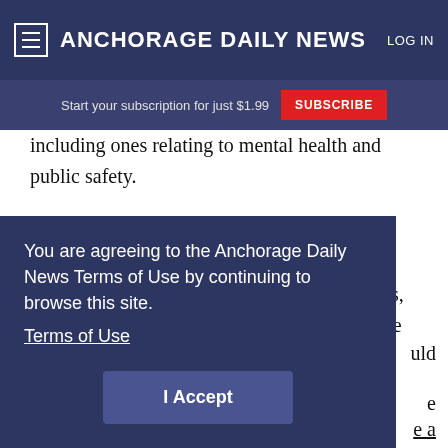≡ ANCHORAGE DAILY NEWS   LOG IN
Start your subscription for just $1.99  SUBSCRIBE
including ones relating to mental health and public safety.
But notable bills remained absent from the calendar as they stalled in committee hearings, threatening their prospects for approval before the
You are agreeing to the Anchorage Daily News Terms of Use by continuing to browse this site.
Terms of Use
I Accept